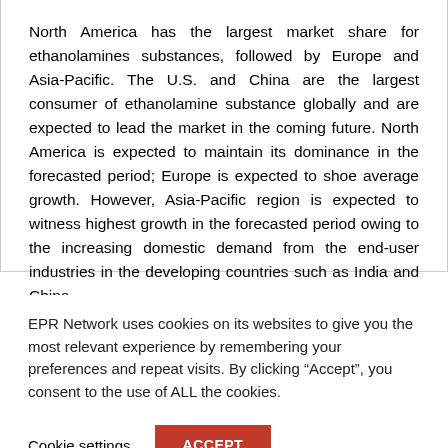North America has the largest market share for ethanolamines substances, followed by Europe and Asia-Pacific. The U.S. and China are the largest consumer of ethanolamine substance globally and are expected to lead the market in the coming future. North America is expected to maintain its dominance in the forecasted period; Europe is expected to shoe average growth. However, Asia-Pacific region is expected to witness highest growth in the forecasted period owing to the increasing domestic demand from the end-user industries in the developing countries such as India and China.
EPR Network uses cookies on its websites to give you the most relevant experience by remembering your preferences and repeat visits. By clicking “Accept”, you consent to the use of ALL the cookies.
Cookie settings
ACCEPT